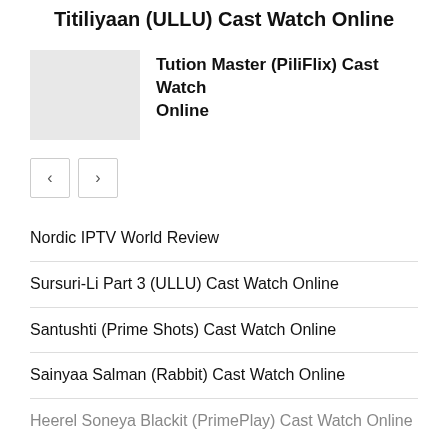Titiliyaan (ULLU) Cast Watch Online
Tution Master (PiliFlix) Cast Watch Online
[Figure (other): Navigation pagination buttons with left and right arrows]
Nordic IPTV World Review
Sursuri-Li Part 3 (ULLU) Cast Watch Online
Santushti (Prime Shots) Cast Watch Online
Sainyaa Salman (Rabbit) Cast Watch Online
Heerel Soneya Blackit (PrimePlay) Cast Watch Online